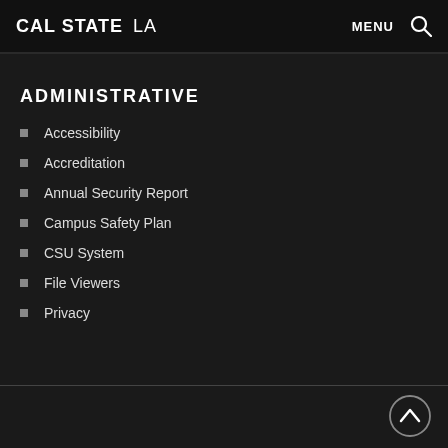CAL STATE LA   MENU
ADMINISTRATIVE
Accessibility
Accreditation
Annual Security Report
Campus Safety Plan
CSU System
File Viewers
Privacy